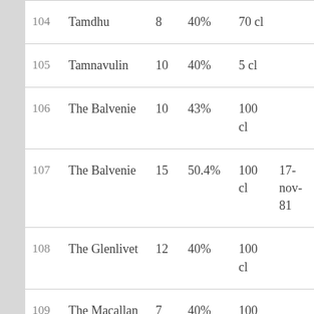| # | Name | Age | ABV | Volume | Date |
| --- | --- | --- | --- | --- | --- |
| 104 | Tamdhu | 8 | 40% | 70 cl |  |
| 105 | Tamnavulin | 10 | 40% | 5 cl |  |
| 106 | The Balvenie | 10 | 43% | 100 cl |  |
| 107 | The Balvenie | 15 | 50.4% | 100 cl | 17-nov-81 |
| 108 | The Glenlivet | 12 | 40% | 100 cl |  |
| 109 | The Macallan | 7 | 40% | 100 |  |